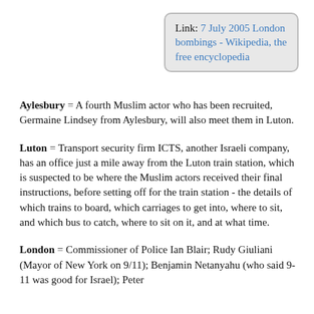Link: 7 July 2005 London bombings - Wikipedia, the free encyclopedia
Aylesbury = A fourth Muslim actor who has been recruited, Germaine Lindsey from Aylesbury, will also meet them in Luton.
Luton = Transport security firm ICTS, another Israeli company, has an office just a mile away from the Luton train station, which is suspected to be where the Muslim actors received their final instructions, before setting off for the train station - the details of which trains to board, which carriages to get into, where to sit, and which bus to catch, where to sit on it, and at what time.
London = Commissioner of Police Ian Blair; Rudy Giuliani (Mayor of New York on 9/11); Benjamin Netanyahu (who said 9-11 was good for Israel); Peter